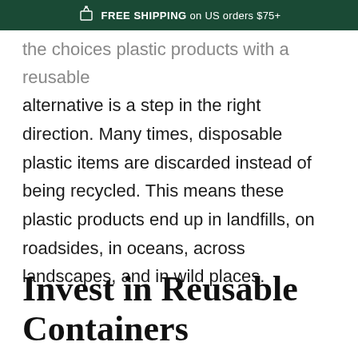FREE SHIPPING on US orders $75+
the choices plastic products with a reusable alternative is a step in the right direction. Many times, disposable plastic items are discarded instead of being recycled. This means these plastic products end up in landfills, on roadsides, in oceans, across landscapes, and in wild places.
Invest in Reusable Containers